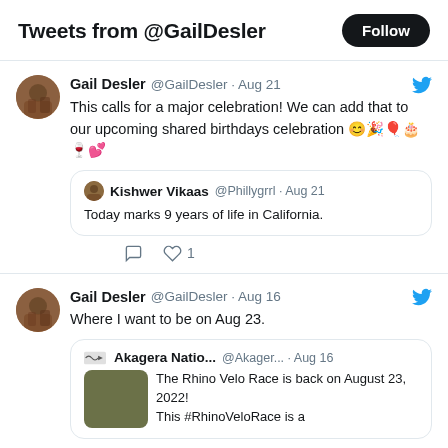Tweets from @GailDesler
Gail Desler @GailDesler · Aug 21
This calls for a major celebration! We can add that to our upcoming shared birthdays celebration 😊🎉🎈🎂🍷💕
Kishwer Vikaas @Phillygrrl · Aug 21
Today marks 9 years of life in California.
♡ 1
Gail Desler @GailDesler · Aug 16
Where I want to be on Aug 23.
Akagera Natio... @Akager... · Aug 16
The Rhino Velo Race is back on August 23, 2022!
This #RhinoVeloRace is a